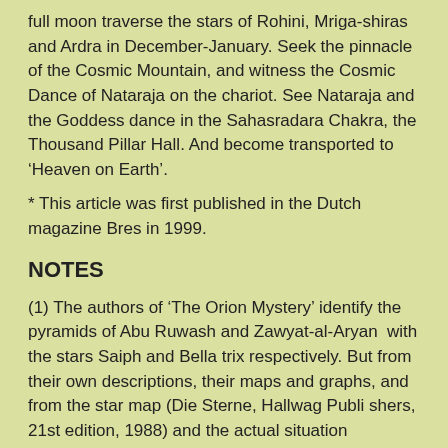full moon traverse the stars of Rohini, Mriga-shiras and Ardra in December-January. Seek the pinnacle of the Cosmic Mountain, and witness the Cosmic Dance of Nataraja on the chariot. See Nataraja and the Goddess dance in the Sahasradara Chakra, the Thousand Pillar Hall. And become transported to 'Heaven on Earth'.
* This article was first published in the Dutch magazine Bres in 1999.
NOTES
(1) The authors of 'The Orion Mystery' identify the pyramids of Abu Ruwash and Zawyat-al-Aryan  with the stars Saiph and Bella trix respectively. But from their own descriptions, their maps and graphs, and from the star map (Die Sterne, Hallwag Publi shers, 21st edition, 1988) and the actual situation observed by me in the sky, I have come to the conclusion that the stars Betelgeuse and Rigel are represented by a pyramid, and not the stars Saiph and Bellatrix. Saiph and Bellatrix could only be identified with the pyramids of Abu Ruwasj and Zawyat-al Aryan if the image of Orion was, as it were, 'mirrored' along it's north-south axis. But then the identification of the pyramid of